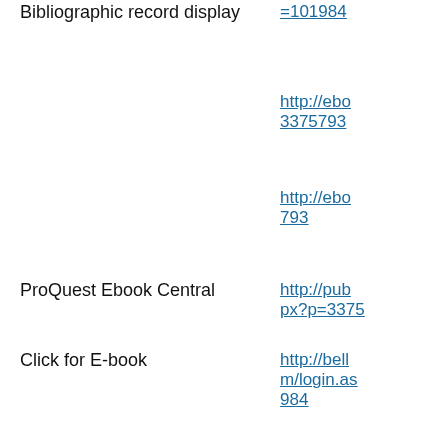Bibliographic record display
=101984
http://ebo 3375793
http://ebo 793
ProQuest Ebook Central
http://pub px?p=3375
Click for E-book
http://bell m/login.as 984
https://log scohost.co 984